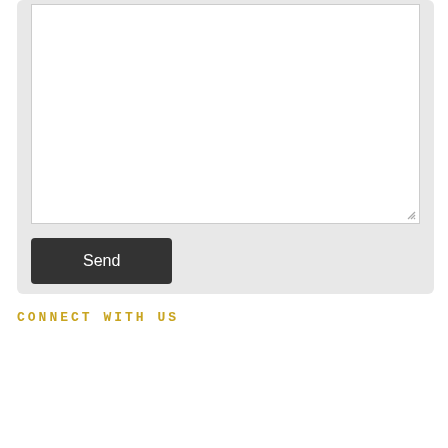[Figure (screenshot): A web contact form showing a large white textarea input field with a resize handle in the bottom-right corner, set on a light gray rounded-corner container background. Below the textarea is a dark gray 'Send' button with white text.]
CONNECT WITH US